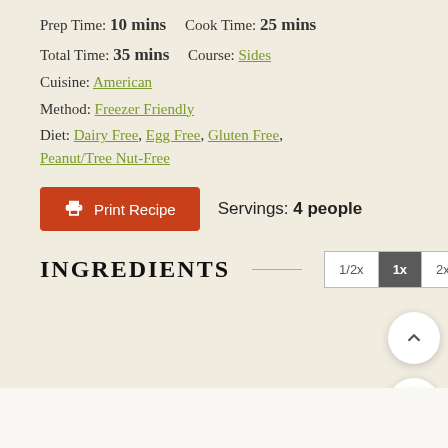Prep Time: 10 mins    Cook Time: 25 mins
Total Time: 35 mins    Course: Sides
Cuisine: American
Method: Freezer Friendly
Diet: Dairy Free, Egg Free, Gluten Free, Peanut/Tree Nut-Free
[Figure (screenshot): Print Recipe button (red) and Servings: 4 people text]
INGREDIENTS  ——  1/2x  1x  2x  ...